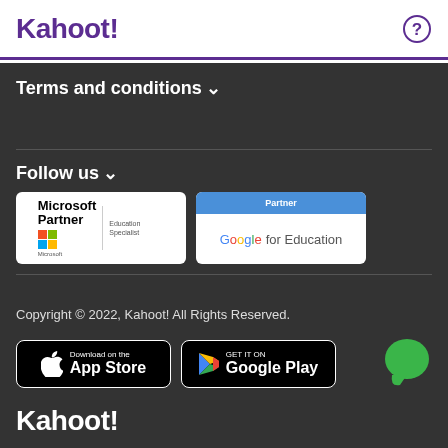Kahoot!
Terms and conditions ∨
Follow us ∨
[Figure (logo): Microsoft Partner Education Specialist badge]
[Figure (logo): Google for Education Partner badge]
Copyright © 2022, Kahoot! All Rights Reserved.
[Figure (logo): Download on the App Store button]
[Figure (logo): GET IT ON Google Play button]
[Figure (logo): Green chat bubble icon]
Kahoot!